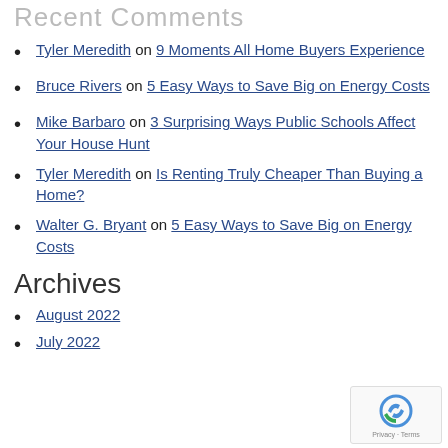Recent Comments
Tyler Meredith on 9 Moments All Home Buyers Experience
Bruce Rivers on 5 Easy Ways to Save Big on Energy Costs
Mike Barbaro on 3 Surprising Ways Public Schools Affect Your House Hunt
Tyler Meredith on Is Renting Truly Cheaper Than Buying a Home?
Walter G. Bryant on 5 Easy Ways to Save Big on Energy Costs
Archives
August 2022
July 2022